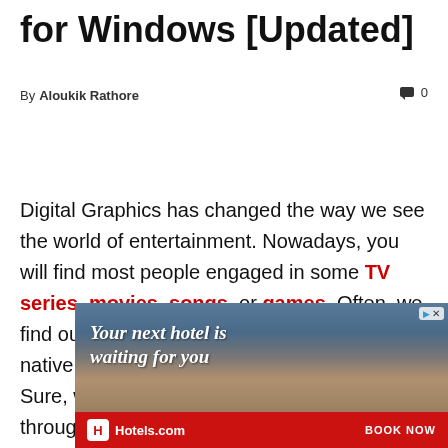for Windows [Updated]
By Aloukik Rathore   💬 0
Digital Graphics has changed the way we see the world of entertainment. Nowadays, you will find most people engaged in some TV series, movies, songs, or games. Often, we find ourselves in a position where we wish for native GIF viewers on our windows system. Sure, we can open the downloaded GIF files through a web browser, but our
[Figure (infographic): Hotels.com advertisement banner showing a mountain resort hotel with text 'Your next hotel is waiting for you' and a BOOK NOW button]